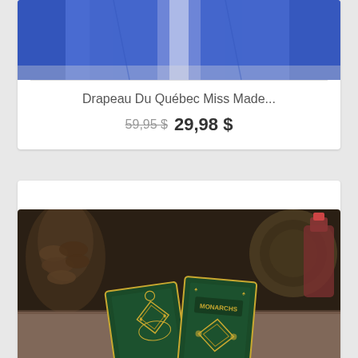[Figure (photo): Partial view of a blue fabric item (Quebec flag) on white background]
Drapeau Du Québec Miss Made...
59,95 $ 29,98 $
[Figure (photo): Two green Monarchs Playing Cards decks with ornate gold design, displayed on a table with pine cone and bottle in background]
Monarchs Playing Cards - Green
12,99 $